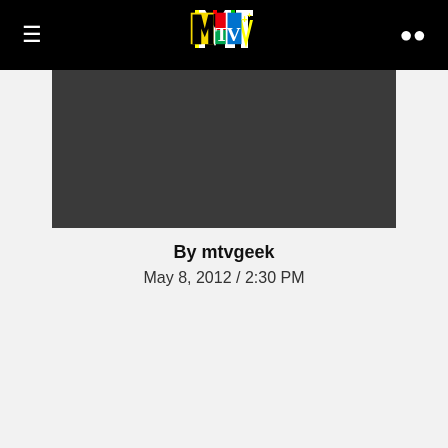MTV navigation bar with hamburger menu, MTV logo, and search icon
[Figure (photo): Dark grey hero image banner area]
By mtvgeek
May 8, 2012 / 2:30 PM